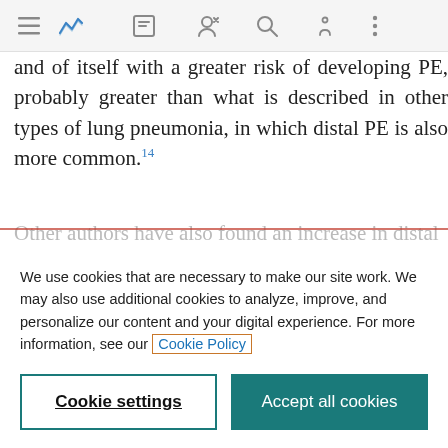[Browser toolbar with navigation icons]
and of itself with a greater risk of developing PE, probably greater than what is described in other types of lung pneumonia, in which distal PE is also more common.14
Other authors have also found an increase in distal
We use cookies that are necessary to make our site work. We may also use additional cookies to analyze, improve, and personalize our content and your digital experience. For more information, see our Cookie Policy
Cookie settings
Accept all cookies